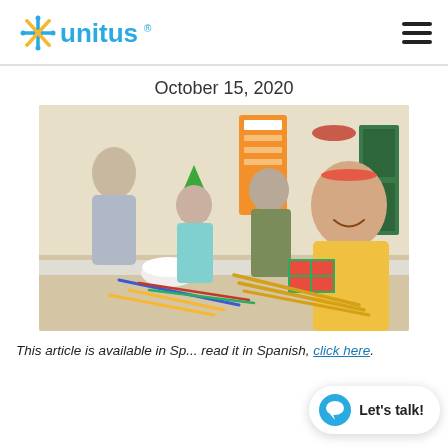unitus (logo) | hamburger menu
October 15, 2020
[Figure (photo): Children sitting around a table doing arts and crafts (holiday-themed). A smiling girl in the foreground wears reindeer antlers headband. Colorful pipe cleaners, pencils, and a bowl of beads are on the table. Holiday decorations visible in background.]
This article is available in Sp... read it in Spanish, click here.